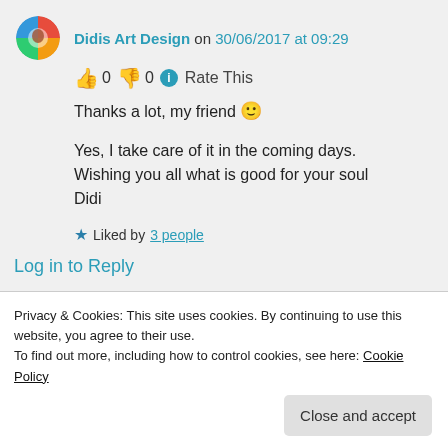Didis Art Design on 30/06/2017 at 09:29
👍 0 👎 0 ℹ Rate This
Thanks a lot, my friend 🙂

Yes, I take care of it in the coming days. Wishing you all what is good for your soul
Didi
★ Liked by 3 people
Log in to Reply
Privacy & Cookies: This site uses cookies. By continuing to use this website, you agree to their use.
To find out more, including how to control cookies, see here: Cookie Policy
Close and accept